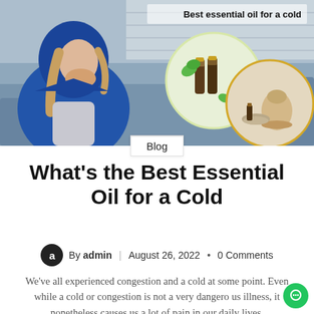[Figure (photo): Blog header image showing a woman wrapped in a blue blanket/hoodie blowing her nose, seated on a gray couch. On the right side are two circular inset images: one showing essential oil bottles with mint leaves, another showing an aromatherapy diffuser. Bold text overlay reads 'Best essential oil for a cold'.]
Blog
What's the Best Essential Oil for a Cold
By admin | August 26, 2022 • 0 Comments
We've all experienced congestion and a cold at some point. Even while a cold or congestion is not a very dangerous illness, it nonetheless causes us a lot of pain in our daily lives.